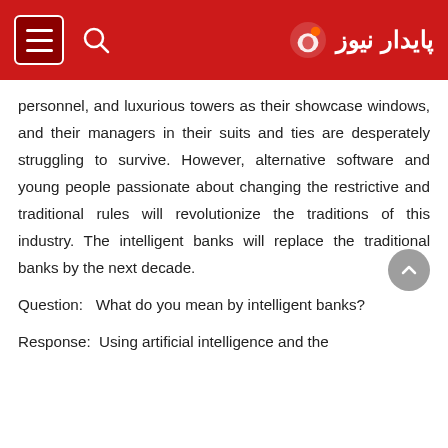پایدار نیوز
personnel, and luxurious towers as their showcase windows, and their managers in their suits and ties are desperately struggling to survive. However, alternative software and young people passionate about changing the restrictive and traditional rules will revolutionize the traditions of this industry. The intelligent banks will replace the traditional banks by the next decade.
Question:  What do you mean by intelligent banks?
Response:  Using artificial intelligence and the